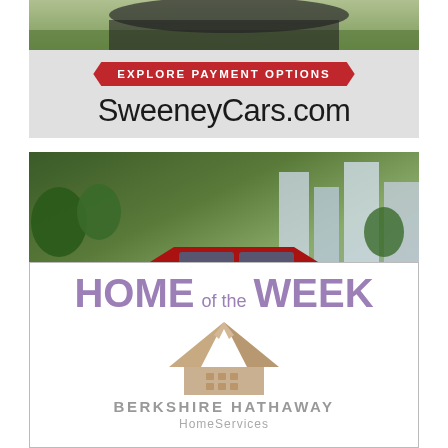[Figure (photo): Top portion of a car advertisement showing a vehicle on grass background]
[Figure (infographic): Sweeney Cars advertisement section with red banner reading EXPLORE PAYMENT OPTIONS and URL SweeneyCars.com on grey background]
[Figure (photo): Red SUV driving in an urban setting with trees and buildings in background]
[Figure (logo): Home of the Week advertisement featuring Berkshire Hathaway HomeServices logo with house icon in gold/tan colors]